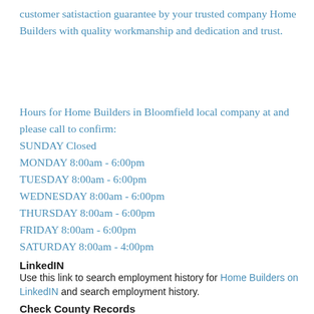customer satistaction guarantee by your trusted company Home Builders with quality workmanship and dedication and trust.
Hours for Home Builders in Bloomfield local company at and please call to confirm:
SUNDAY Closed
MONDAY 8:00am - 6:00pm
TUESDAY 8:00am - 6:00pm
WEDNESDAY 8:00am - 6:00pm
THURSDAY 8:00am - 6:00pm
FRIDAY 8:00am - 6:00pm
SATURDAY 8:00am - 4:00pm
LinkedIN
Use this link to search employment history for Home Builders on LinkedIN and search employment history.
Check County Records